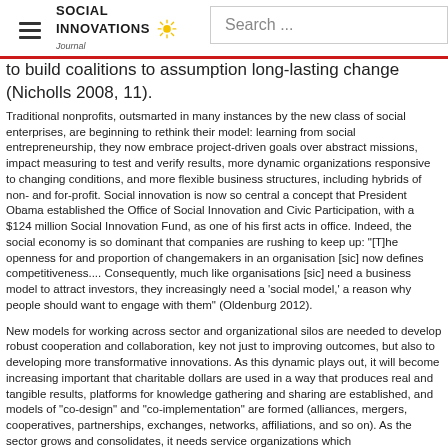Social Innovations Journal
to build coalitions to assumption long-lasting change (Nicholls 2008, 11).
Traditional nonprofits, outsmarted in many instances by the new class of social enterprises, are beginning to rethink their model: learning from social entrepreneurship, they now embrace project-driven goals over abstract missions, impact measuring to test and verify results, more dynamic organizations responsive to changing conditions, and more flexible business structures, including hybrids of non- and for-profit. Social innovation is now so central a concept that President Obama established the Office of Social Innovation and Civic Participation, with a $124 million Social Innovation Fund, as one of his first acts in office. Indeed, the social economy is so dominant that companies are rushing to keep up: "[T]he openness for and proportion of changemakers in an organisation [sic] now defines competitiveness.... Consequently, much like organisations [sic] need a business model to attract investors, they increasingly need a 'social model,' a reason why people should want to engage with them" (Oldenburg 2012).
New models for working across sector and organizational silos are needed to develop robust cooperation and collaboration, key not just to improving outcomes, but also to developing more transformative innovations. As this dynamic plays out, it will become increasing important that charitable dollars are used in a way that produces real and tangible results, platforms for knowledge gathering and sharing are established, and models of "co-design" and "co-implementation" are formed (alliances, mergers, cooperatives, partnerships, exchanges, networks, affiliations, and so on). As the sector grows and consolidates, it needs service organizations which